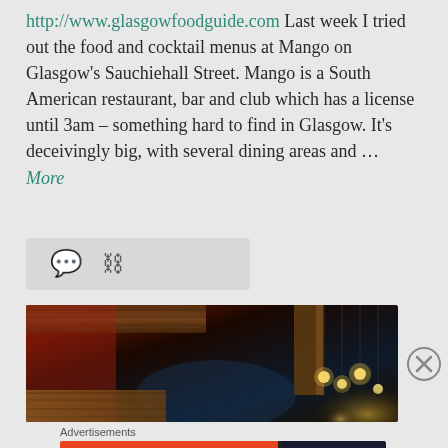http://www.glasgowfoodguide.com Last week I tried out the food and cocktail menus at Mango on Glasgow's Sauchiehall Street. Mango is a South American restaurant, bar and club which has a license until 3am – something hard to find in Glasgow. It's deceivingly big, with several dining areas and ... More
[Figure (photo): Interior photo of a restaurant/bar showing ceiling with pendant lights and warm amber lighting against a dark background with reddish tones on the left side]
Advertisements
[Figure (screenshot): DuckDuckGo advertisement banner with orange background saying 'Search, browse, and email with more privacy. All in One Free App' with DuckDuckGo duck logo on dark right panel]